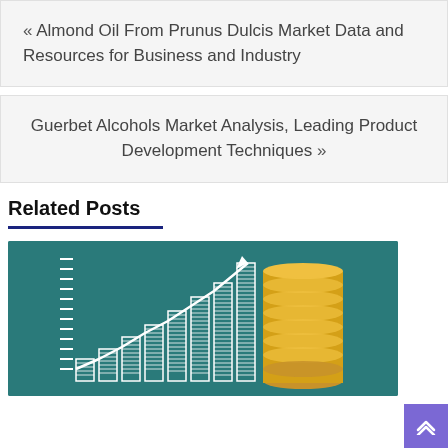« Almond Oil From Prunus Dulcis Market Data and Resources for Business and Industry
Guerbet Alcohols Market Analysis, Leading Product Development Techniques »
Related Posts
[Figure (photo): A teal/dark green chalkboard background with white bar chart drawn showing increasing bars with an upward arrow trend line, and stacks of gold coins on the right side.]